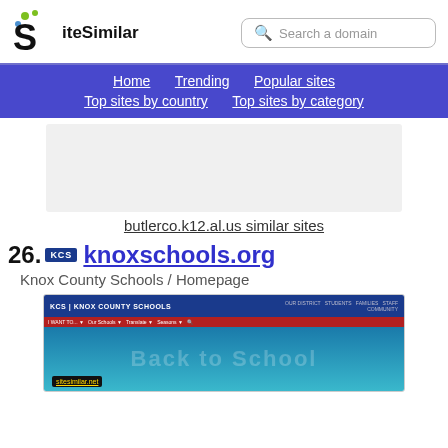SiteSimilar — Search a domain
[Figure (screenshot): SiteSimilar website navigation header with logo, search bar, and nav links: Home, Trending, Popular sites, Top sites by country, Top sites by category]
[Figure (other): Advertisement placeholder (grey box)]
butlerco.k12.al.us similar sites
26. KCS knoxschools.org
Knox County Schools / Homepage
[Figure (screenshot): Screenshot of knoxschools.org website showing KCS Knox County Schools header with navigation and 'Back to School' text]